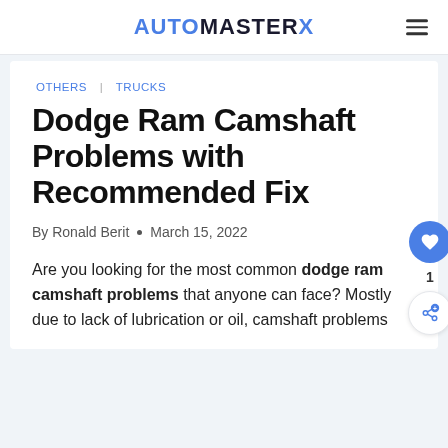AUTOMASTERX
OTHERS | TRUCKS
Dodge Ram Camshaft Problems with Recommended Fix
By Ronald Berit • March 15, 2022
Are you looking for the most common dodge ram camshaft problems that anyone can face? Mostly due to lack of lubrication or oil, camshaft problems are…